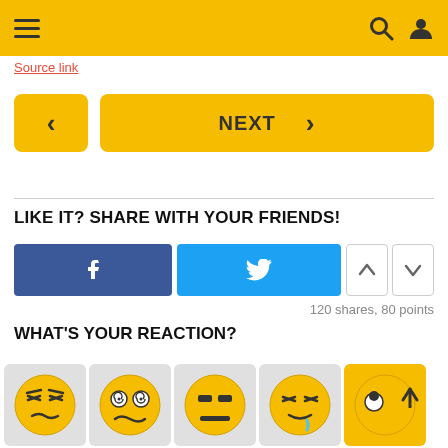Navigation header with hamburger menu, search and user icons
Source link
< NEXT >
LIKE IT? SHARE WITH YOUR FRIENDS!
Facebook share button, Twitter share button, upvote, downvote
120 shares, 80 points
WHAT'S YOUR REACTION?
[Figure (illustration): Row of 5 emoji reaction faces on yellow/grey cards]